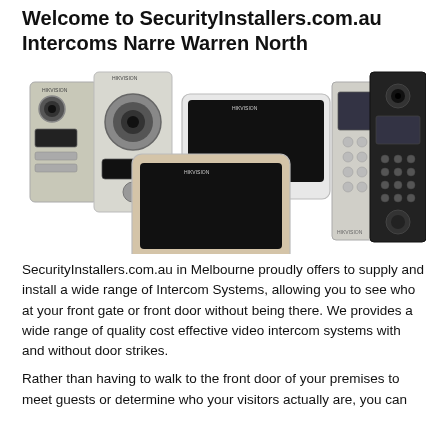Welcome to SecurityInstallers.com.au Intercoms Narre Warren North
[Figure (photo): Collection of Hikvision video intercom systems including door stations and indoor monitors in silver/white and black colors]
SecurityInstallers.com.au in Melbourne proudly offers to supply and install a wide range of Intercom Systems, allowing you to see who at your front gate or front door without being there. We provides a wide range of quality cost effective video intercom systems with and without door strikes.
Rather than having to walk to the front door of your premises to meet guests or determine who your visitors actually are, you can